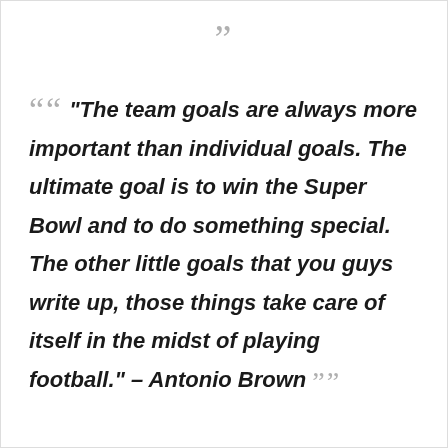“The team goals are always more important than individual goals. The ultimate goal is to win the Super Bowl and to do something special. The other little goals that you guys write up, those things take care of itself in the midst of playing football.” – Antonio Brown